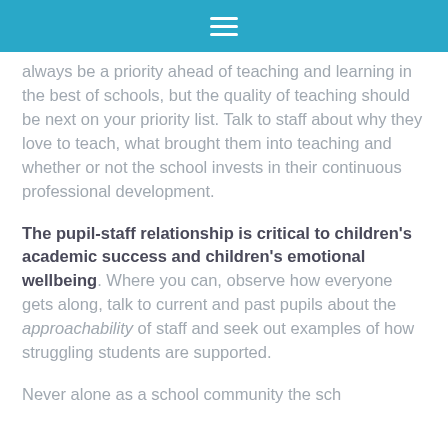≡
always be a priority ahead of teaching and learning in the best of schools, but the quality of teaching should be next on your priority list. Talk to staff about why they love to teach, what brought them into teaching and whether or not the school invests in their continuous professional development.
The pupil-staff relationship is critical to children's academic success and children's emotional wellbeing. Where you can, observe how everyone gets along, talk to current and past pupils about the approachability of staff and seek out examples of how struggling students are supported.
Never alone as a school community the sch...